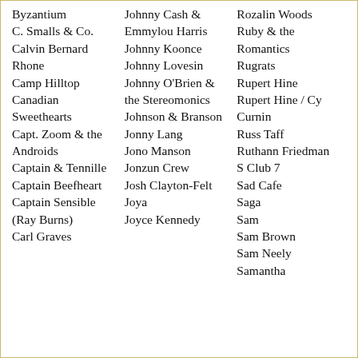Byzantium
C. Smalls & Co.
Calvin Bernard Rhone
Camp Hilltop
Canadian Sweethearts
Capt. Zoom & the Androids
Captain & Tennille
Captain Beefheart
Captain Sensible (Ray Burns)
Carl Graves
Johnny Cash & Emmylou Harris
Johnny Koonce
Johnny Lovesin
Johnny O'Brien & the Stereomonics
Johnson & Branson
Jonny Lang
Jono Manson
Jonzun Crew
Josh Clayton-Felt
Joya
Joyce Kennedy
Rozalin Woods
Ruby & the Romantics
Rugrats
Rupert Hine
Rupert Hine / Cy Curnin
Russ Taff
Ruthann Friedman
S Club 7
Sad Cafe
Saga
Sam
Sam Brown
Sam Neely
Samantha